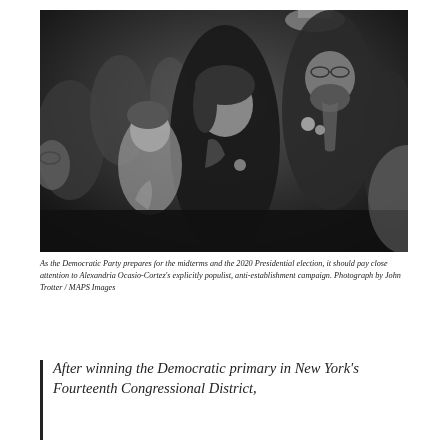[Figure (photo): Black and white photograph of Alexandria Ocasio-Cortez with supporters in a crowded indoor setting. A young woman in a black blazer with a campaign button stands in the foreground. A bearded man in a suit with campaign buttons stands behind her to the right.]
As the Democratic Party prepares for the midterms and the 2020 Presidential election, it should pay close attention to Alexandria Ocasio-Cortez's explicitly populist, anti-establishment campaign. Photograph by John Trotter / MAPS Images
After winning the Democratic primary in New York's Fourteenth Congressional District,